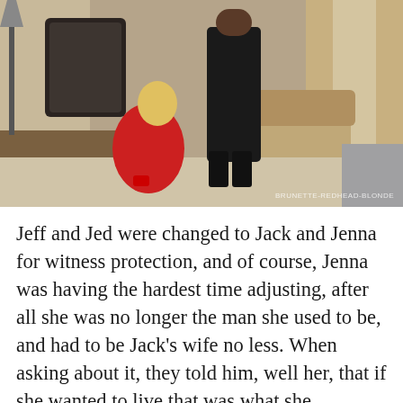[Figure (photo): A photograph showing a woman in a red dress kneeling on the floor in a hotel room and a man standing in front of her wearing dark clothing. A watermark reads BRUNETTE-REDHEAD-BLONDE in the bottom right corner.]
Jeff and Jed were changed to Jack and Jenna for witness protection, and of course, Jenna was having the hardest time adjusting, after all she was no longer the man she used to be, and had to be Jack's wife no less. When asking about it, they told him, well her, that if she wanted to live that was what she would live as.